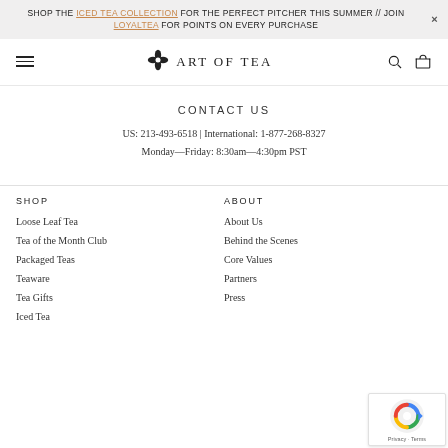SHOP THE ICED TEA COLLECTION FOR THE PERFECT PITCHER THIS SUMMER // JOIN LOYALTEA FOR POINTS ON EVERY PURCHASE
[Figure (logo): Art of Tea logo with four-petal flower icon and text ART OF TEA]
CONTACT US
US: 213-493-6518 | International: 1-877-268-8327
Monday—Friday: 8:30am—4:30pm PST
SHOP
Loose Leaf Tea
Tea of the Month Club
Packaged Teas
Teaware
Tea Gifts
Iced Tea
ABOUT
About Us
Behind the Scenes
Core Values
Partners
Press